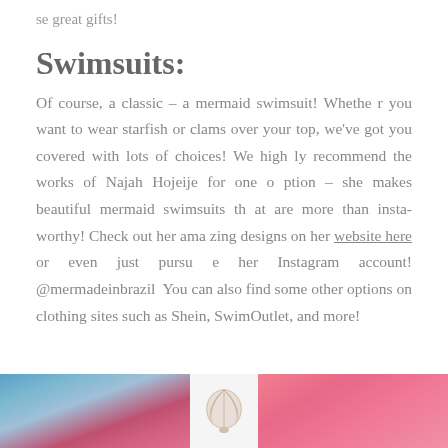se great gifts!
Swimsuits:
Of course, a classic – a mermaid swimsuit! Whether you want to wear starfish or clams over your top, we've got you covered with lots of choices! We highly recommend the works of Najah Hojeije for one option – she makes beautiful mermaid swimsuits that are more than insta-worthy! Check out her amazing designs on her website here or even just pursue her Instagram account! @mermadeinbrazil  You can also find some other options on clothing sites such as Shein, SwimOutlet, and more!
[Figure (photo): Three photos at the bottom showing mermaid swimsuit examples: left photo shows a person in a blue swimsuit with purple hair, center shows a white shell/clam shape on light background, right shows a person in a pink/coral top.]